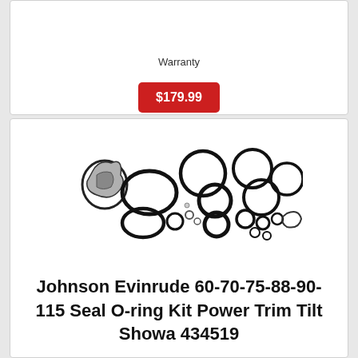Warranty
$179.99
[Figure (photo): Collection of O-ring seals and gaskets of various sizes spread out on a white background, including circular rings, a shaped seal, and small clips.]
Johnson Evinrude 60-70-75-88-90-115 Seal O-ring Kit Power Trim Tilt Showa 434519